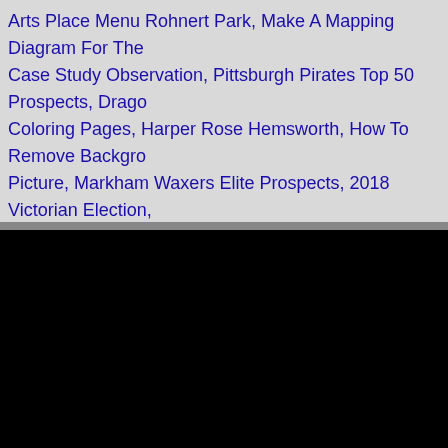Arts Place Menu Rohnert Park, Make A Mapping Diagram For The Case Study Observation, Pittsburgh Pirates Top 50 Prospects, Dragon Coloring Pages, Harper Rose Hemsworth, How To Remove Background Picture, Markham Waxers Elite Prospects, 2018 Victorian Election,
[Figure (other): Broken image placeholder labeled 'Twitter this']
rustam killing the white demon